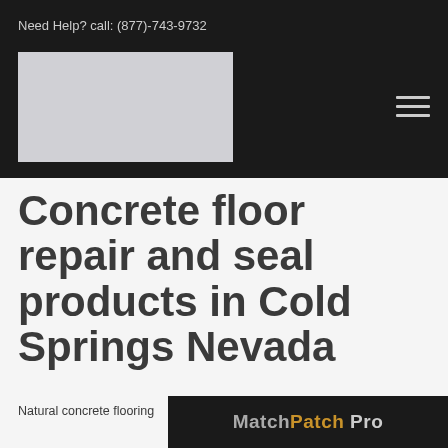Need Help? call: (877)-743-9732
[Figure (logo): Company logo placeholder - light gray rectangle in dark navigation bar]
[Figure (other): Hamburger menu icon - three horizontal lines in dark navigation bar]
Concrete floor repair and seal products in Cold Springs Nevada
Natural concrete flooring
[Figure (logo): Match Patch Pro logo in dark/black background with gray and gold text]